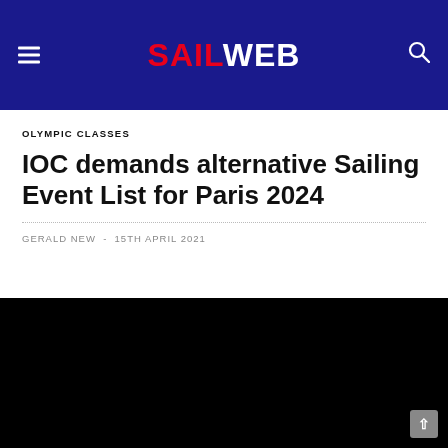SAILWEB
OLYMPIC CLASSES
IOC demands alternative Sailing Event List for Paris 2024
GERALD NEW - 15TH APRIL 2021
[Figure (photo): Dark/black image placeholder for article photo]